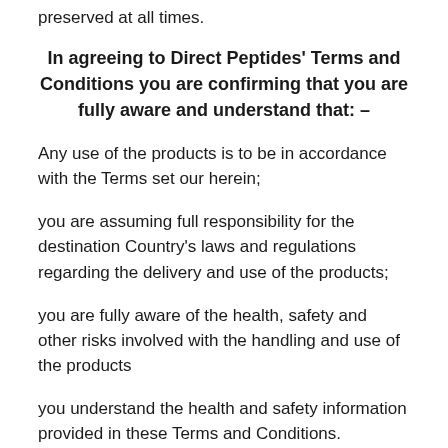preserved at all times.
In agreeing to Direct Peptides' Terms and Conditions you are confirming that you are fully aware and understand that: –
Any use of the products is to be in accordance with the Terms set our herein;
you are assuming full responsibility for the destination Country's laws and regulations regarding the delivery and use of the products;
you are fully aware of the health, safety and other risks involved with the handling and use of the products
you understand the health and safety information provided in these Terms and Conditions.